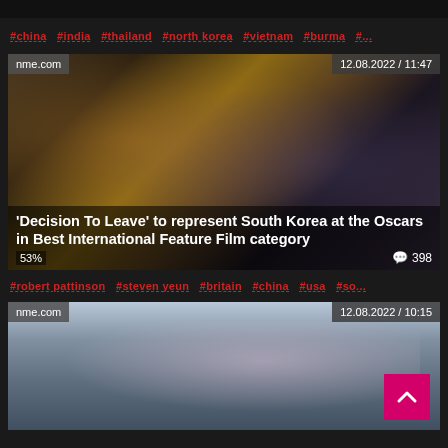[Figure (screenshot): Top dark bar, partial image from previous article]
#china #india #thailand #north korea #vietnam #burma #...
[Figure (photo): Article card: two people facing each other in dim light. Source: nme.com, Date: 12.08.2022 / 11:47. Title: 'Decision To Leave' to represent South Korea at the Oscars in Best International Feature Film category. Stats: 53%, 398 comments.]
#robert pattinson #steven yeun #britain #china #usa #so...
[Figure (photo): Article card: person lying down, close-up face. Source: nme.com, Date: 12.08.2022 / 10:15. Back to top button visible.]